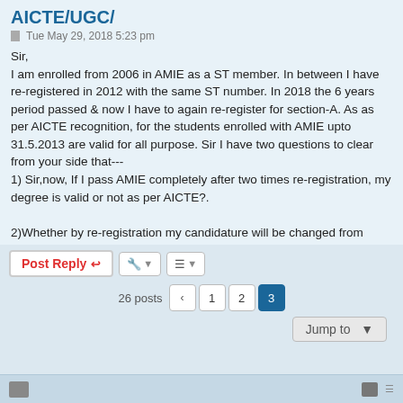AICTE/UGC/
Tue May 29, 2018 5:23 pm
Sir,
I am enrolled from 2006 in AMIE as a ST member. In between I have re-registered in 2012 with the same ST number. In 2018 the 6 years period passed & now I have to again re-register for section-A. As as per AICTE recognition, for the students enrolled with AMIE upto 31.5.2013 are valid for all purpose. Sir I have two questions to clear from your side that---
1) Sir,now, If I pass AMIE completely after two times re-registration, my degree is valid or not as per AICTE?.

2)Whether by re-registration my candidature will be changed from 2006 to 2018 or it will remain same( means a candidate of 2006 registered)?.
Please help me in this regard , I am very much confused to continue or discontinue the AMIE.
With kind regards..
Post Reply | tools | sort | 26 posts < 1 2 3 | Jump to
footer navigation bar